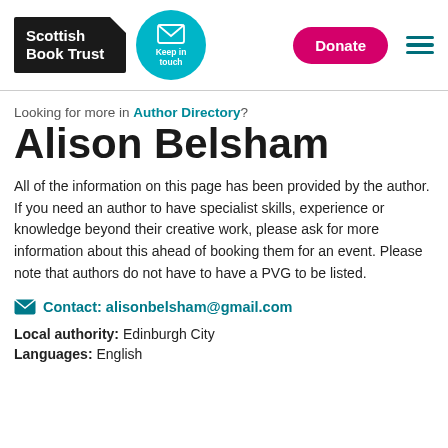[Figure (logo): Scottish Book Trust logo (white text on black background), Keep in touch circular teal button with envelope icon, Donate pink button, hamburger menu icon]
Looking for more in Author Directory?
Alison Belsham
All of the information on this page has been provided by the author. If you need an author to have specialist skills, experience or knowledge beyond their creative work, please ask for more information about this ahead of booking them for an event. Please note that authors do not have to have a PVG to be listed.
Contact: alisonbelsham@gmail.com
Local authority: Edinburgh City
Languages: English